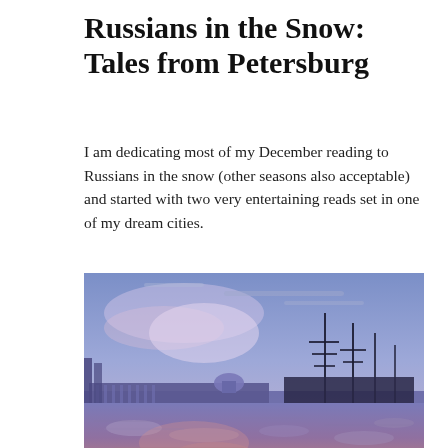Russians in the Snow: Tales from Petersburg
I am dedicating most of my December reading to Russians in the snow (other seasons also acceptable) and started with two very entertaining reads set in one of my dream cities.
[Figure (photo): A wide panoramic photo of St Petersburg waterfront at dusk/winter, showing a frozen or icy river in the foreground with reflections of pink and purple sunset light, and in the background a long classical building facade and a tall sailing ship with masts silhouetted against a cloudy blue-purple sky.]
St Petersburg ranks very highly indeed in my wishlist of places to go – and has done since I was about 12 and read my first Dostoevsky. In the meantime, I have read so many more Russian